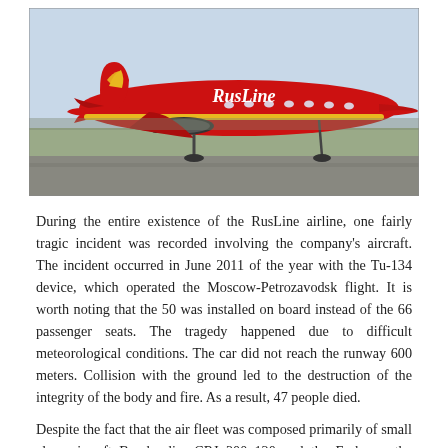[Figure (photo): A red RusLine airline aircraft (Bombardier CRJ) with gold dragon livery on the runway, taxiing or taking off.]
During the entire existence of the RusLine airline, one fairly tragic incident was recorded involving the company's aircraft. The incident occurred in June 2011 of the year with the Tu-134 device, which operated the Moscow-Petrozavodsk flight. It is worth noting that the 50 was installed on board instead of the 66 passenger seats. The tragedy happened due to difficult meteorological conditions. The car did not reach the runway 600 meters. Collision with the ground led to the destruction of the integrity of the body and fire. As a result, 47 people died.
Despite the fact that the air fleet was composed primarily of small class aircraft Bombardier CRJ 200 120 and the Embraer, the airline route network is well developed - departures are carried out in more than 54 different